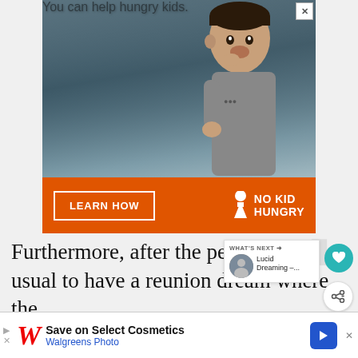[Figure (photo): Advertisement banner for No Kid Hungry charity. Shows a young boy eating in a classroom with text 'You can help hungry kids.' and an orange bar with 'LEARN HOW' button and No Kid Hungry logo.]
Furthermore, after the person's dea... usual to have a reunion dream where the pe... that is ha... it you
[Figure (screenshot): Walgreens Photo advertisement banner: 'Save on Select Cosmetics' with Walgreens Photo branding, navigation arrow icon, and close button. Partially overlapping page content.]